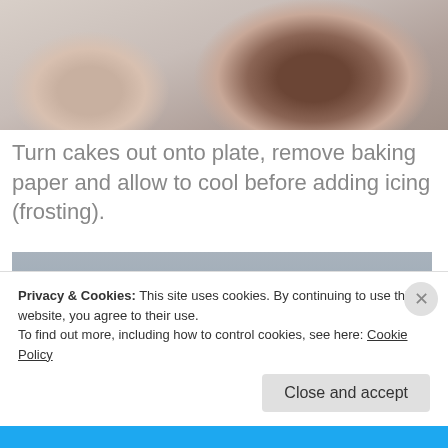[Figure (photo): Partial photo at top of page showing hands/skin tones removing a round chocolate cake from a plate with baking paper, cropped view]
Turn cakes out onto plate, remove baking paper and allow to cool before adding icing (frosting).
[Figure (photo): Photo of a round dark chocolate cake layer resting on a surface, showing the side profile of the cake with dark brown crumb texture, against a grey-blue background]
Privacy & Cookies: This site uses cookies. By continuing to use this website, you agree to their use.
To find out more, including how to control cookies, see here: Cookie Policy

Close and accept